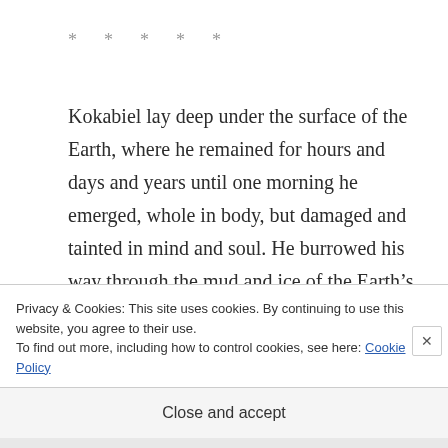* * * * *
Kokabiel lay deep under the surface of the Earth, where he remained for hours and days and years until one morning he emerged, whole in body, but damaged and tainted in mind and soul. He burrowed his way through the mud and ice of the Earth’s crust, emerging
Privacy & Cookies: This site uses cookies. By continuing to use this website, you agree to their use.
To find out more, including how to control cookies, see here: Cookie Policy
Close and accept